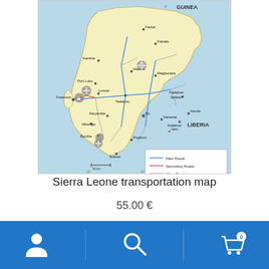[Figure (map): Sierra Leone transportation map showing main roads (blue), secondary roads (red), other roads (grey), ports, airports, and hydroelectric power stations. Neighboring countries Guinea and Liberia labeled. Cities including Freetown, Bo, Kenema, Makeni, Magburaka, Port Loko, Kabala, Fausa, Kambia, Moyamba, Bonthe, Pujehun, Sulima, Yealamu, Kendu, Kailahun, Kailahun, Kallaun labeled. Legend in lower right corner.]
Sierra Leone transportation map
55.00 €